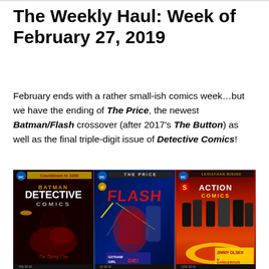The Weekly Haul: Week of February 27, 2019
February ends with a rather small-ish comics week…but we have the ending of The Price, the newest Batman/Flash crossover (after 2017's The Button) as well as the final triple-digit issue of Detective Comics!
[Figure (photo): Three DC comic book covers side by side: Batman Detective Comics (Countdown to 1000), The Flash (The Price crossover with Gotham Girl), and Superman Action Comics (Leviathan Rising, Jimmy Olsen is Dangerous)]